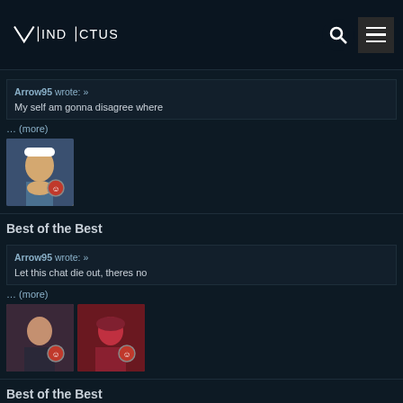VINDICTUS
Arrow95 wrote: »
My self am gonna disagree where
… (more)
[Figure (photo): User avatar image of a game character with a hat, with red badge icon]
Best of the Best
Arrow95 wrote: »
Let this chat die out, theres no
… (more)
[Figure (photo): Two user avatar images of game characters with red badge icons]
Best of the Best
So much salt, people can't seem to keep their e-peens in check. Might as well give my thoughts before this thread derails further into madness. These aren't necessarily the best players … (more)
[Figure (photo): Two user avatar images of game characters at bottom of page]